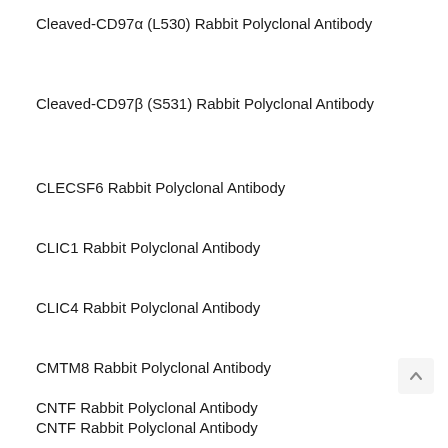Cleaved-CD97α (L530) Rabbit Polyclonal Antibody
Cleaved-CD97β (S531) Rabbit Polyclonal Antibody
CLECSF6 Rabbit Polyclonal Antibody
CLIC1 Rabbit Polyclonal Antibody
CLIC4 Rabbit Polyclonal Antibody
CMTM8 Rabbit Polyclonal Antibody
CNTF Rabbit Polyclonal Antibody
COL17A1 Rabbit Polyclonal Antibody
COL25A1 Rabbit Polyclonal Antibody